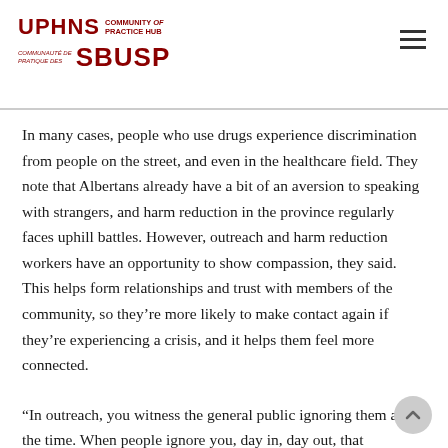UPHNS COMMUNITY OF PRACTICE HUB / COMMUNAUTÉ DE PRATIQUE DES SBUSP
In many cases, people who use drugs experience discrimination from people on the street, and even in the healthcare field. They note that Albertans already have a bit of an aversion to speaking with strangers, and harm reduction in the province regularly faces uphill battles. However, outreach and harm reduction workers have an opportunity to show compassion, they said. This helps form relationships and trust with members of the community, so they're more likely to make contact again if they're experiencing a crisis, and it helps them feel more connected.
“In outreach, you witness the general public ignoring them all the time. When people ignore you, day in, day out, that